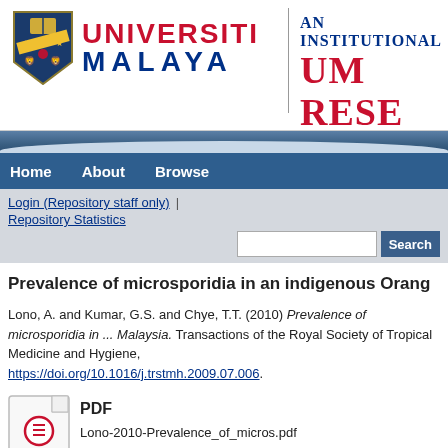[Figure (logo): Universiti Malaya logo with shield crest and UM Research Repository banner]
Home | About | Browse
Login (Repository staff only) | Repository Statistics [Search box] [Search button]
Prevalence of microsporidia in an indigenous Orang...
Lono, A. and Kumar, G.S. and Chye, T.T. (2010) Prevalence of microsporidia in ... Malaysia. Transactions of the Royal Society of Tropical Medicine and Hygiene, https://doi.org/10.1016/j.trstmh.2009.07.006.
[Figure (other): PDF file icon]
PDF
Lono-2010-Prevalence_of_micros.pdf
Restricted to Registered users only
Download (333kB) | Request a copy
Official URL: http://ac.els-cdn.com/S0035920309002326/1-s2.0-S00...
Abstract